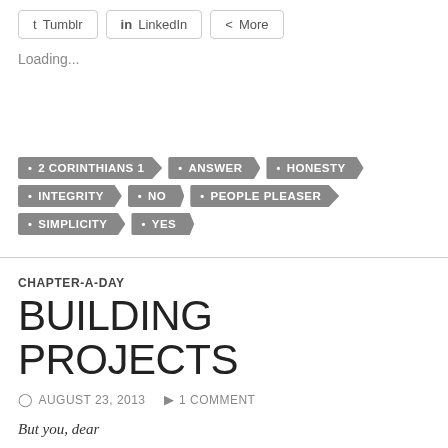[Figure (screenshot): Share buttons row with Tumblr, LinkedIn, and More options]
Loading...
• 2 CORINTHIANS 1  • ANSWER  • HONESTY  • INTEGRITY  • NO  • PEOPLE PLEASER  • SIMPLICITY  • YES
CHAPTER-A-DAY
BUILDING PROJECTS
AUGUST 23, 2013   1 COMMENT
But you, dear